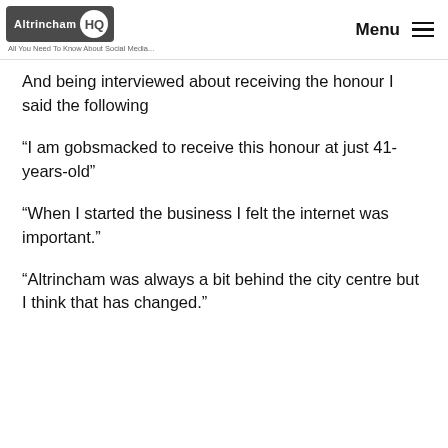Altrincham HQ — All You Need To Know About Social Media... Menu
And being interviewed about receiving the honour I said the following
“I am gobsmacked to receive this honour at just 41-years-old”
“When I started the business I felt the internet was important.”
“Altrincham was always a bit behind the city centre but I think that has changed.”